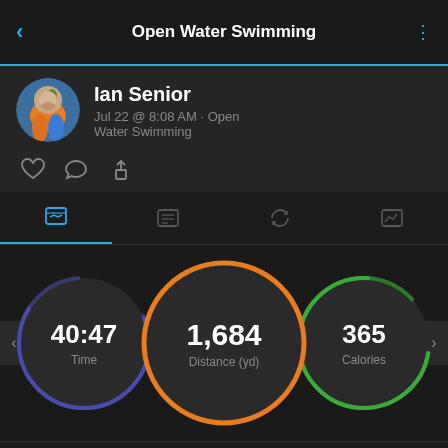Open Water Swimming
Ian Senior
Jul 22 @ 8:08 AM · Open Water Swimming
[Figure (screenshot): Fitness app screenshot showing Open Water Swimming activity for Ian Senior with metrics: Time 40:47, Distance 1,684 yd, Calories 365, and bottom stats 2:25 and 58]
40:47
Time
1,684
Distance (yd)
365
Calories
2:25
58